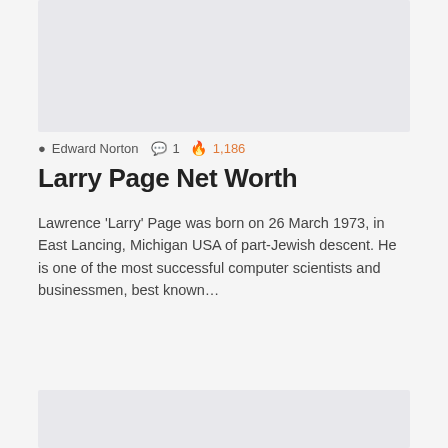[Figure (photo): Top image placeholder, light gray background]
Edward Norton  1  1,186
Larry Page Net Worth
Lawrence 'Larry' Page was born on 26 March 1973, in East Lancing, Michigan USA of part-Jewish descent. He is one of the most successful computer scientists and businessmen, best known…
Read More »
[Figure (photo): Bottom image placeholder, light gray background]